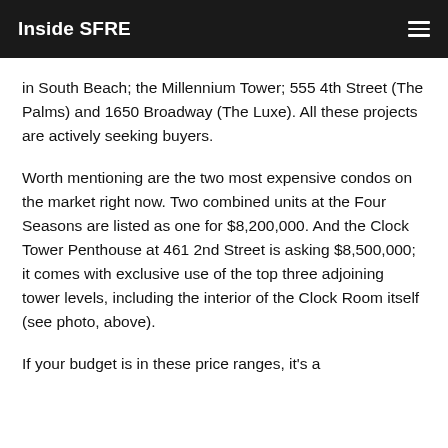Inside SFRE
in South Beach; the Millennium Tower; 555 4th Street (The Palms) and 1650 Broadway (The Luxe). All these projects are actively seeking buyers.
Worth mentioning are the two most expensive condos on the market right now. Two combined units at the Four Seasons are listed as one for $8,200,000. And the Clock Tower Penthouse at 461 2nd Street is asking $8,500,000; it comes with exclusive use of the top three adjoining tower levels, including the interior of the Clock Room itself (see photo, above).
If your budget is in these price ranges, it's a